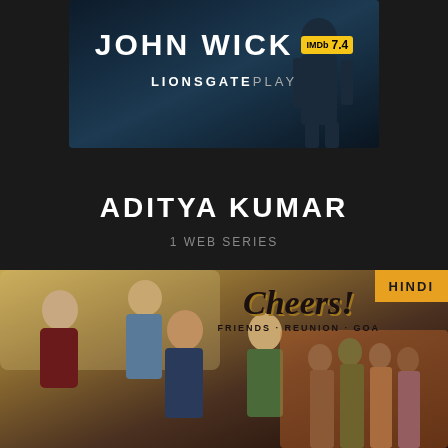[Figure (screenshot): John Wick movie banner with IMDb rating 7.4 and Lionsgate Play branding on dark blue background]
ADITYA KUMAR
1 WEB SERIES
[Figure (screenshot): Cheers! Friends Reunion Goa web series banner showing multiple cast members on a warm vintage background with Hindi language badge]